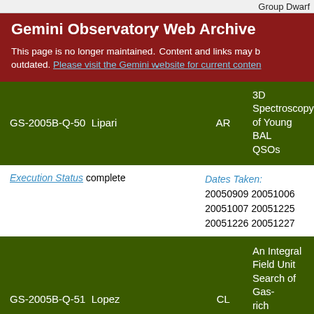Group Dwarf
Gemini Observatory Web Archive
This page is no longer maintained. Content and links may be outdated. Please visit the Gemini website for current content
| ID / PI | Instrument | Title |
| --- | --- | --- |
| GS-2005B-Q-50  Lipari | AR | 3D Spectroscopy of Young BAL QSOs |
| Execution Status complete | Dates Taken: 20050909 20051006 20051007 20051225 20051226 20051227 |  |
| GS-2005B-Q-51  Lopez | CL | An Integral Field Unit Search of Gas-rich Starforming Galaxies at z>2 |
| Execution Status active | Dates Taken: |  |